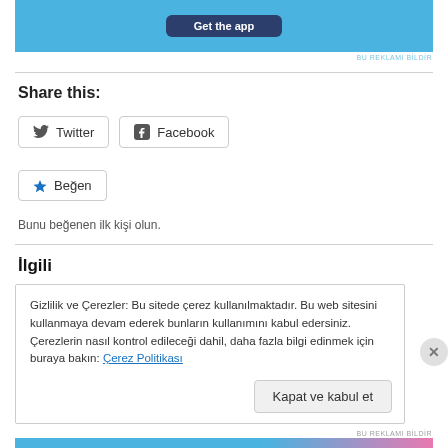[Figure (screenshot): App advertisement banner with blue background and 'Get the app' button]
BU REKLAMI BİLDİR
Share this:
Twitter
Facebook
Beğen
Bunu beğenen ilk kişi olun.
İlgili
Gizlilik ve Çerezler: Bu sitede çerez kullanılmaktadır. Bu web sitesini kullanmaya devam ederek bunların kullanımını kabul edersiniz. Çerezlerin nasıl kontrol edileceği dahil, daha fazla bilgi edinmek için buraya bakın: Çerez Politikası
Kapat ve kabul et
BU REKLAMI BİLDİR